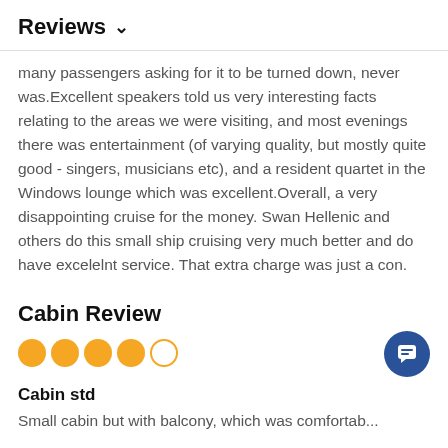Reviews ∨
many passengers asking for it to be turned down, never was.Excellent speakers told us very interesting facts relating to the areas we were visiting, and most evenings there was entertainment (of varying quality, but mostly quite good - singers, musicians etc), and a resident quartet in the Windows lounge which was excellent.Overall, a very disappointing cruise for the money. Swan Hellenic and others do this small ship cruising very much better and do have excelelnt service. That extra charge was just a con.
Cabin Review
[Figure (other): 4 out of 5 filled orange circles representing a star rating]
Cabin std
Small cabin but with balcony, which was comfortable...